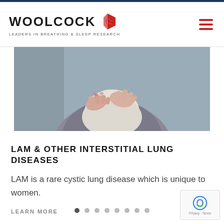[Figure (logo): Woolcock Institute logo with red leaf icon and tagline 'Leaders in Breathing & Sleep Research']
[Figure (photo): Woman in grey cardigan holding hands to her chest/throat area, suggesting breathing or chest discomfort]
LAM & OTHER INTERSTITIAL LUNG DISEASES
LAM is a rare cystic lung disease which is unique to women.
LEARN MORE